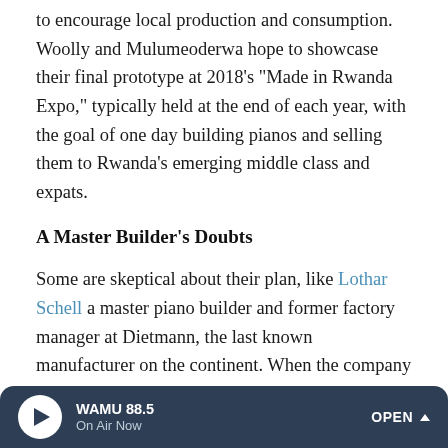to encourage local production and consumption. Woolly and Mulumeoderwa hope to showcase their final prototype at 2018's "Made in Rwanda Expo," typically held at the end of each year, with the goal of one day building pianos and selling them to Rwanda's emerging middle class and expats.
A Master Builder's Doubts
Some are skeptical about their plan, like Lothar Schell a master piano builder and former factory manager at Dietmann, the last known manufacturer on the continent. When the company was still in operation, they exported pianos to more than 33 countries. Only a small number were sold on the continent, specifically to South Africa, Egypt, Namibia and Rhodesia, known today as Zimbabwe.
WAMU 88.5 | On Air Now | OPEN